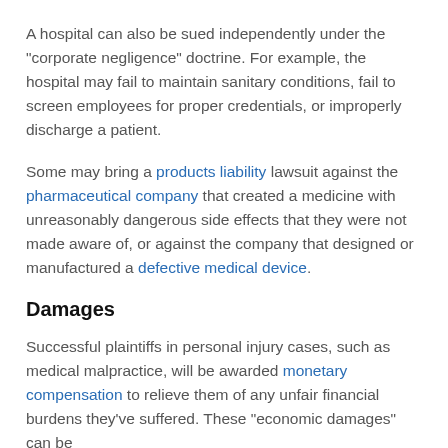A hospital can also be sued independently under the "corporate negligence" doctrine. For example, the hospital may fail to maintain sanitary conditions, fail to screen employees for proper credentials, or improperly discharge a patient.
Some may bring a products liability lawsuit against the pharmaceutical company that created a medicine with unreasonably dangerous side effects that they were not made aware of, or against the company that designed or manufactured a defective medical device.
Damages
Successful plaintiffs in personal injury cases, such as medical malpractice, will be awarded monetary compensation to relieve them of any unfair financial burdens they've suffered. These "economic damages" can be